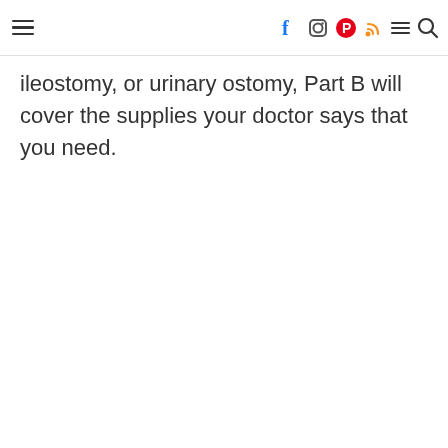≡ [navigation icons: facebook, instagram, pinterest, rss, menu, search]
ileostomy, or urinary ostomy, Part B will cover the supplies your doctor says that you need.